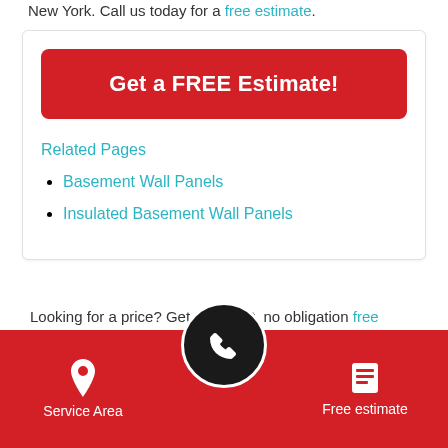New York. Call us today for a free estimate.
[Figure (other): Red button: Get a FREE Estimate!]
Related Pages
Basement Wall Panels
Insulated Basement Wall Panels
Looking for a price? Get a no cost, no obligation free estimate.
Service Area | [phone icon] | Free estimate